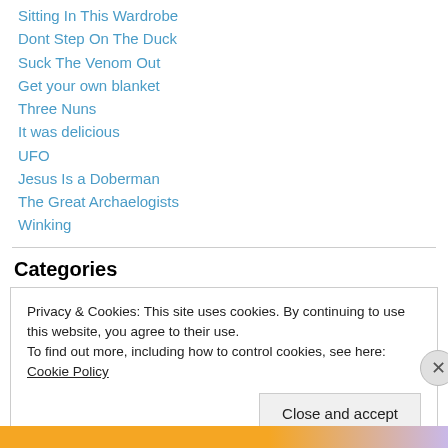Sitting In This Wardrobe
Dont Step On The Duck
Suck The Venom Out
Get your own blanket
Three Nuns
It was delicious
UFO
Jesus Is a Doberman
The Great Archaelogists
Winking
Categories
Privacy & Cookies: This site uses cookies. By continuing to use this website, you agree to their use.
To find out more, including how to control cookies, see here: Cookie Policy
Close and accept